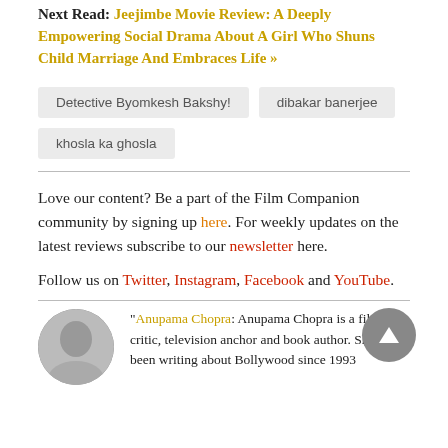Next Read: Jeejimbe Movie Review: A Deeply Empowering Social Drama About A Girl Who Shuns Child Marriage And Embraces Life »
Detective Byomkesh Bakshy!
dibakar banerjee
khosla ka ghosla
Love our content? Be a part of the Film Companion community by signing up here. For weekly updates on the latest reviews subscribe to our newsletter here.
Follow us on Twitter, Instagram, Facebook and YouTube.
"Anupama Chopra: Anupama Chopra is a film critic, television anchor and book author. She has been writing about Bollywood since 1993